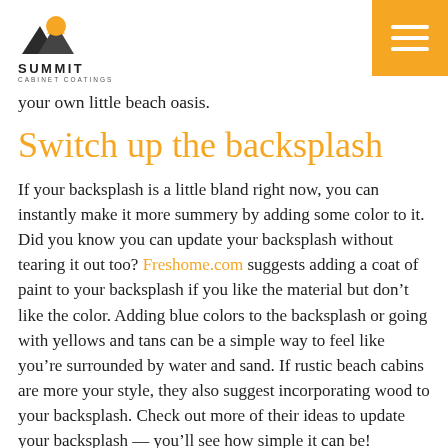Summit Cabinet Coatings
your own little beach oasis.
Switch up the backsplash
If your backsplash is a little bland right now, you can instantly make it more summery by adding some color to it. Did you know you can update your backsplash without tearing it out too? Freshome.com suggests adding a coat of paint to your backsplash if you like the material but don't like the color. Adding blue colors to the backsplash or going with yellows and tans can be a simple way to feel like you're surrounded by water and sand. If rustic beach cabins are more your style, they also suggest incorporating wood to your backsplash. Check out more of their ideas to update your backsplash — you'll see how simple it can be!
Incorporate coastal colors